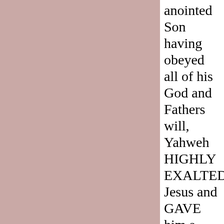anointed Son having obeyed all of his God and Fathers will, Yahweh HIGHLY EXALTED Jesus and GAVE him a NEW NAME that is higher than